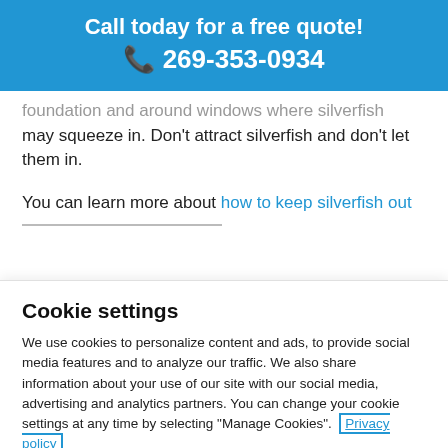Call today for a free quote!
📞 269-353-0934
foundation and around windows where silverfish may squeeze in. Don't attract silverfish and don't let them in.
You can learn more about how to keep silverfish out
Cookie settings
We use cookies to personalize content and ads, to provide social media features and to analyze our traffic. We also share information about your use of our site with our social media, advertising and analytics partners. You can change your cookie settings at any time by selecting "Manage Cookies". Privacy policy
Cookies Settings
Accept All Cookies